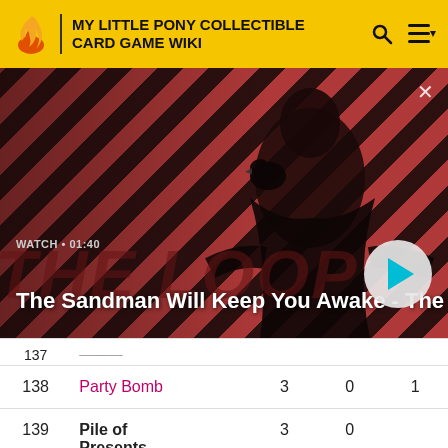MY LITTLE PONY COLLECTIBLE CARD GAME WIKI
[Figure (screenshot): Video promo banner for 'The Sandman Will Keep You Awake - The Loop' with a dark-robed figure and a raven on a red and black diagonal stripe background. Shows WATCH • 01:40 label and a play button.]
| # | Name | Col3 | Col4 | Col5 |
| --- | --- | --- | --- | --- |
| 138 | Party Bomb | 3 | 0 | 1 |
| 139 | Pile of Presents | 3 | 0 |  |
| 140 | Pony Charm | 4 | 3 | 5 |